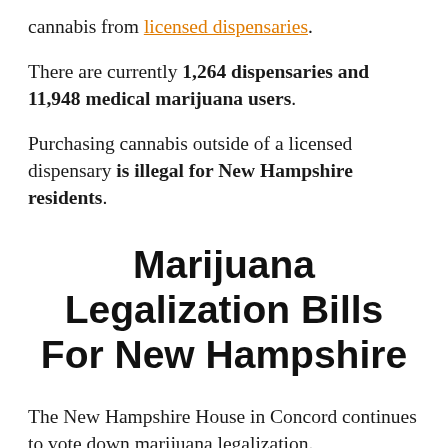cannabis from licensed dispensaries.
There are currently 1,264 dispensaries and 11,948 medical marijuana users.
Purchasing cannabis outside of a licensed dispensary is illegal for New Hampshire residents.
Marijuana Legalization Bills For New Hampshire
The New Hampshire House in Concord continues to vote down marijuana legalization.